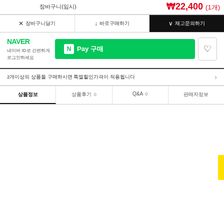장바구니(임시)
₩22,400 (1개)
× 장바구니담기
↓ 바로구매하기
∨ 재고문의하기
[Figure (logo): NAVER logo in green with NPay button and wish button]
2개이상의 상품을 구매하시면 특별할인가격이 적용됩니다
상품정보
상품후기 0
Q&A 0
판매자정보